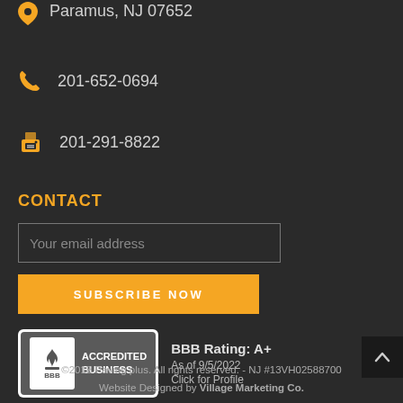100 Florwood Road, Paramus, NJ 07652
201-652-0694
201-291-8822
CONTACT
Your email address
SUBSCRIBE NOW
[Figure (logo): BBB Accredited Business badge with BBB Rating: A+, As of 9/5/2022, Click for Profile]
©2018 Paving plus. All rights reserved. - NJ #13VH02588700 Website Designed by Village Marketing Co.